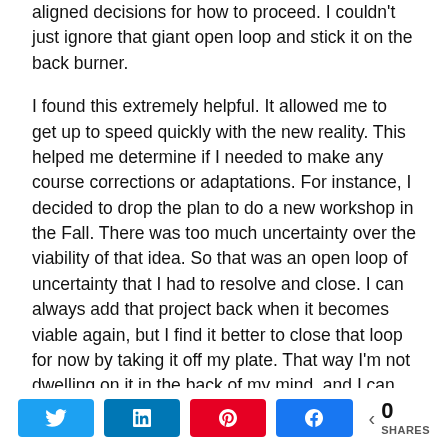aligned decisions for how to proceed. I couldn't just ignore that giant open loop and stick it on the back burner.
I found this extremely helpful. It allowed me to get up to speed quickly with the new reality. This helped me determine if I needed to make any course corrections or adaptations. For instance, I decided to drop the plan to do a new workshop in the Fall. There was too much uncertainty over the viability of that idea. So that was an open loop of uncertainty that I had to resolve and close. I can always add that project back when it becomes viable again, but I find it better to close that loop for now by taking it off my plate. That way I'm not dwelling on it in the back of my mind, and I can free up that mental energy for other projects.
Like many people, I also had to do some extra
0 SHARES